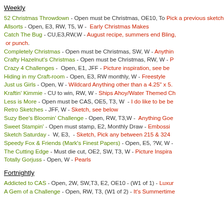Weekly
52 Christmas Throwdown - Open must be Christmas, OE10, To... Pick a previous sketch
Allsorts - Open, E3, RW, T5, W - Early Christmas Makes
Catch The Bug - CU,E3,RW,W - August recipe, summers end Bling, or punch.
Completely Christmas - Open must be Christmas, SW, W - Anything...
Crafty Hazelnut's Christmas - Open must be Christmas, RW, W - P...
Crazy 4 Challenges - Open, E1, JFF - Picture inspiration, see be...
Hiding in my Craft-room - Open, E3, RW monthly, W - Freestyle
Just us Girls - Open, W - Wildcard Anything other than a 4.25" x 5....
Kraftin' Kimmie - CU to win, RW, W - Ships Ahoy/Water Themed Ch...
Less is More - Open must be CAS, OE5, T3, W - I do like to be be...
Retro Sketches - JFF, W - Sketch, see below
Suzy Bee's Bloomin' Challenge - Open, RW, T3,W - Anything Goe...
Sweet Stampin' - Open must stamp, E2, Monthly Draw - Embossing...
Sketch Saturday - W, E3, - Sketch, Pick any between 215 & 324
Speedy Fox & Friends (Mark's Finest Papers) - Open, E5, ?W, W -
The Cutting Edge - Must die cut, OE2, SW, T3, W - Picture Inspira...
Totally Gorjuss - Open, W - Pearls
Fortnightly
Addicted to CAS - Open, 2W, SW,T3, E2, OE10 - (W1 of 1) - Luxur...
A Gem of a Challenge - Open, RW, T3, (W1 of 2) - It's Summertime...